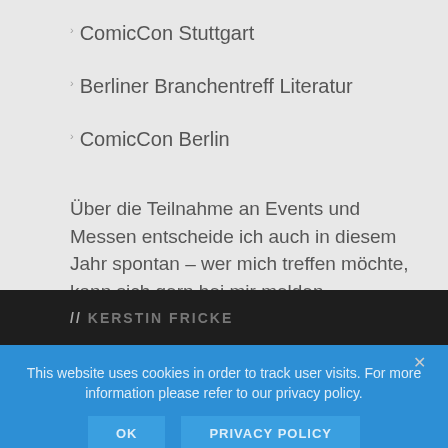ComicCon Stuttgart
Berliner Branchentreff Literatur
ComicCon Berlin
Über die Teilnahme an Events und Messen entscheide ich auch in diesem Jahr spontan – wer mich treffen möchte, kann sich gern bei mir melden
// KERSTIN FRICKE
This website uses cookies in order to track user visits. For more information please refer to our privacy policy.
OK   PRIVACY POLICY